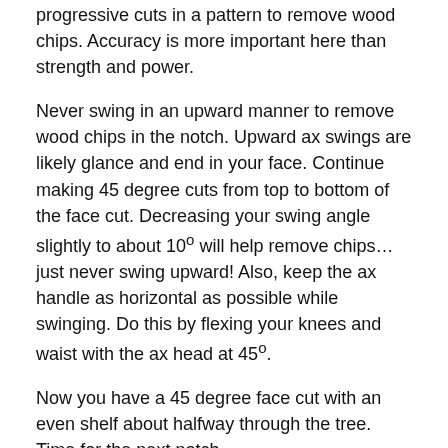progressive cuts in a pattern to remove wood chips. Accuracy is more important here than strength and power.
Never swing in an upward manner to remove wood chips in the notch. Upward ax swings are likely glance and end in your face. Continue making 45 degree cuts from top to bottom of the face cut. Decreasing your swing angle slightly to about 10° will help remove chips… just never swing upward! Also, keep the ax handle as horizontal as possible while swinging. Do this by flexing your knees and waist with the ax head at 45°.
Now you have a 45 degree face cut with an even shelf about halfway through the tree. Time for the next notch.
Back Cut
The back cut is a smaller version of the face cut. Again, this cut needs to be a 45° notch with its shelf an inch or